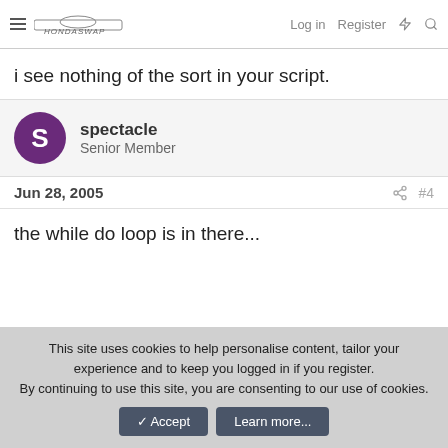HondaSwap — Log in | Register
i see nothing of the sort in your script.
spectacle
Senior Member
Jun 28, 2005  #4
the while do loop is in there...
This site uses cookies to help personalise content, tailor your experience and to keep you logged in if you register.
By continuing to use this site, you are consenting to our use of cookies.